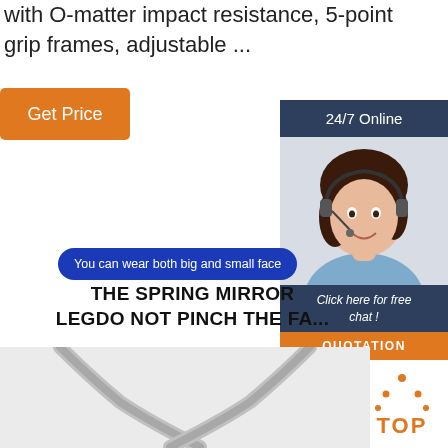with O-matter impact resistance, 5-point grip frames, adjustable ...
[Figure (other): Orange 'Get Price' button]
[Figure (other): 24/7 Online live chat panel with woman in headset, 'Click here for free chat!' text and orange QUOTATION button]
You can wear both big and small face
THE SPRING MIRROR LEGDO NOT PINCH THE FA...
[Figure (photo): Close-up of eyeglass spring mirror legs/arms on light gray background]
[Figure (logo): Orange TOP logo with triangle/dots above text]